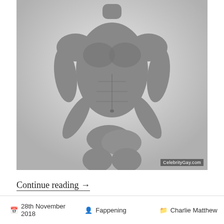[Figure (photo): Black and white photograph of a muscular male torso, posed with hands covering groin area, against a light background. Watermark 'CelebrityGay.com' in lower right corner.]
Continue reading →
28th November 2018  Fappening  Charlie Matthew